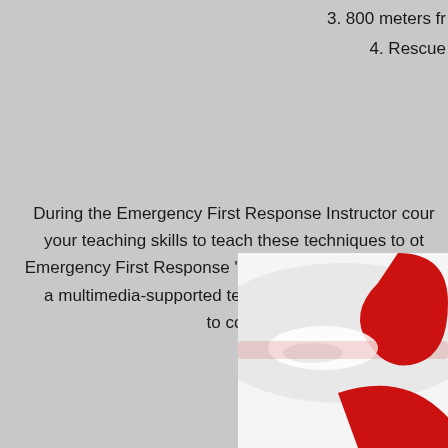3. 800 meters fr
4. Rescue
During the Emergency First Response Instructor cour your teaching skills to teach these techniques to ot Emergency First Response "Primary Care" (CPR), "Sec a multimedia-supported teaching method for perso to conc
[Figure (photo): Close-up photo of red and white curved shapes, appears to be a first aid or CPR training device or mannequin, on a white background.]